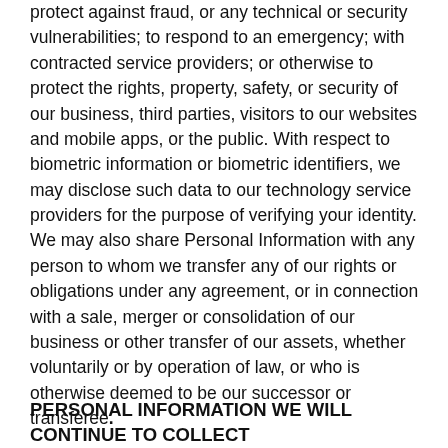protect against fraud, or any technical or security vulnerabilities; to respond to an emergency; with contracted service providers; or otherwise to protect the rights, property, safety, or security of our business, third parties, visitors to our websites and mobile apps, or the public. With respect to biometric information or biometric identifiers, we may disclose such data to our technology service providers for the purpose of verifying your identity. We may also share Personal Information with any person to whom we transfer any of our rights or obligations under any agreement, or in connection with a sale, merger or consolidation of our business or other transfer of our assets, whether voluntarily or by operation of law, or who is otherwise deemed to be our successor or transferee.
PERSONAL INFORMATION WE WILL CONTINUE TO COLLECT